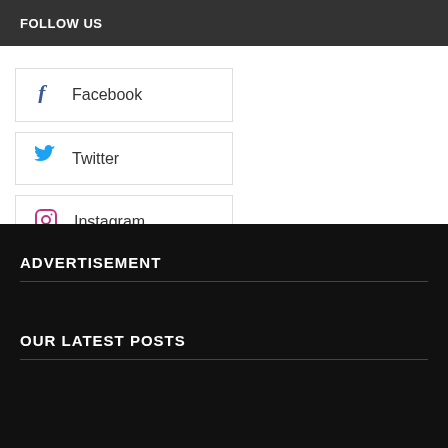FOLLOW US
Facebook
Twitter
Instagram
ADVERTISEMENT
OUR LATEST POSTS